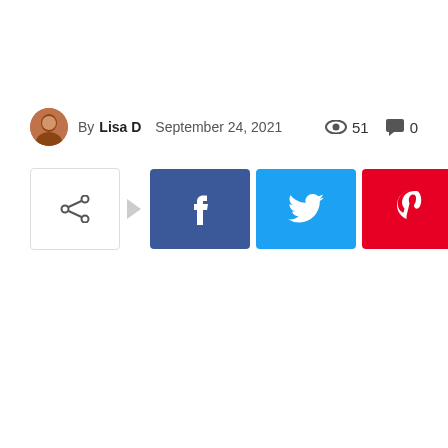By Lisa D  September 24, 2021  👁 51  💬 0
[Figure (infographic): Social share bar with share icon button, arrow, and four colored social media buttons: Facebook (blue, f), Twitter (light blue, bird), Pinterest (red, p), WhatsApp (green, phone icon)]